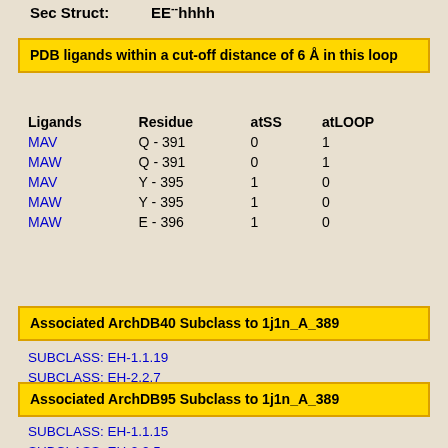Sec Struct:         EE--hhhh
PDB ligands within a cut-off distance of 6 Å in this loop
| Ligands | Residue | atSS | atLOOP |
| --- | --- | --- | --- |
| MAV | Q - 391 | 0 | 1 |
| MAW | Q - 391 | 0 | 1 |
| MAV | Y - 395 | 1 | 0 |
| MAW | Y - 395 | 1 | 0 |
| MAW | E - 396 | 1 | 0 |
Associated ArchDB40 Subclass to 1j1n_A_389
SUBCLASS: EH-1.1.19
SUBCLASS: EH-2.2.7
Associated ArchDB95 Subclass to 1j1n_A_389
SUBCLASS: EH-1.1.15
SUBCLASS: EH-2.2.5